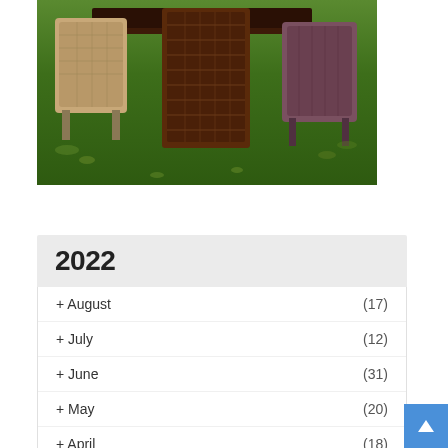[Figure (photo): Outdoor wicker chairs and table on green grass lawn, viewed from above/side angle. Brown wicker furniture including chairs and what appears to be a dark brown wicker column or chair in center.]
2022
+ August (17)
+ July (12)
+ June (31)
+ May (20)
+ April (18)
+ March (30)